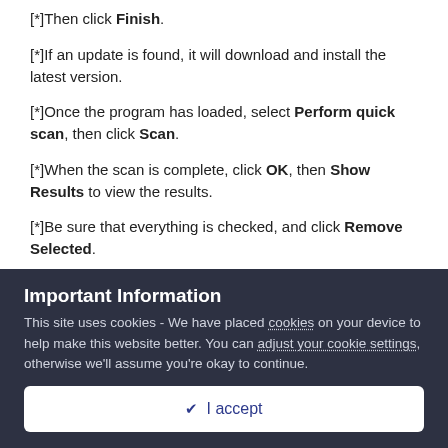[*]Then click Finish.
[*]If an update is found, it will download and install the latest version.
[*]Once the program has loaded, select Perform quick scan, then click Scan.
[*]When the scan is complete, click OK, then Show Results to view the results.
[*]Be sure that everything is checked, and click Remove Selected.
Important Information
This site uses cookies - We have placed cookies on your device to help make this website better. You can adjust your cookie settings, otherwise we'll assume you're okay to continue.
I accept